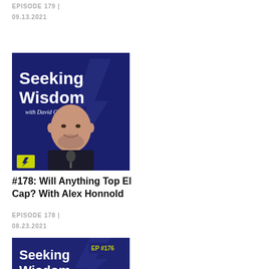EPISODE 179 | 09.13.2021
[Figure (photo): Seeking Wisdom with David Cancel podcast cover art featuring a bald man at a microphone, blue background with lightning bolt]
#178: Will Anything Top El Cap? With Alex Honnold
EPISODE 178 | 08.23.2021
[Figure (photo): Seeking Wisdom with David Cancel podcast cover art, EP #176, blue background with lightning bolt]